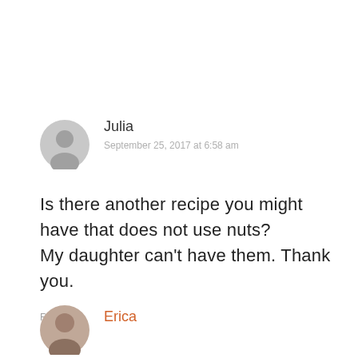Julia
September 25, 2017 at 6:58 am
Is there another recipe you might have that does not use nuts?
My daughter can't have them. Thank you.
Reply
Erica